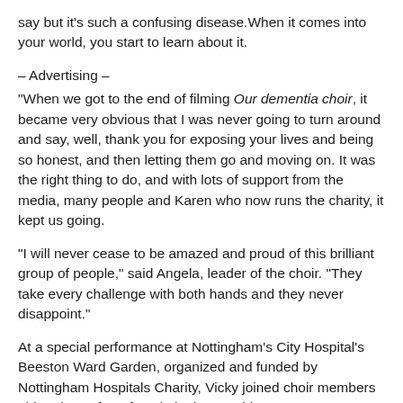say but it's such a confusing disease. When it comes into your world, you start to learn about it.
– Advertising –
“When we got to the end of filming Our dementia choir, it became very obvious that I was never going to turn around and say, well, thank you for exposing your lives and being so honest, and then letting them go and moving on. It was the right thing to do, and with lots of support from the media, many people and Karen who now runs the charity, it kept us going.
“I will never cease to be amazed and proud of this brilliant group of people,” said Angela, leader of the choir. “They take every challenge with both hands and they never disappoint.”
At a special performance at Nottingham's City Hospital's Beeston Ward Garden, organized and funded by Nottingham Hospitals Charity, Vicky joined choir members old and new for a fun gig in the sunshine.